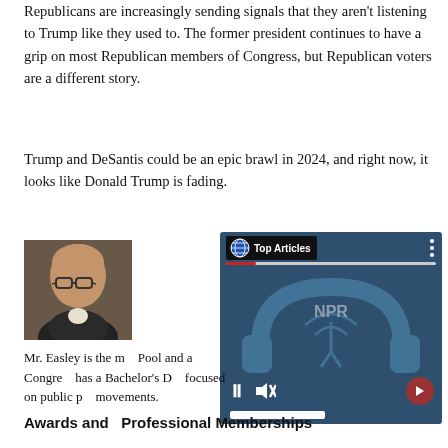Republicans are increasingly sending signals that they aren't listening to Trump like they used to. The former president continues to have a grip on most Republican members of Congress, but Republican voters are a different story.
Trump and DeSantis could be an epic brawl in 2024, and right now, it looks like Donald Trump is fading.
[Figure (photo): Headshot photo of Mr. Easley, a bald man with glasses wearing a dark jacket]
[Figure (screenshot): NPR Top Articles audio player overlay with headphones graphic, pause button, mute button, next arrow button, and seek bar]
Mr. Easley is the m... Pool and a Congre... has a Bachelor's D... focused on public p... movements.
Awards and  Professional Memberships